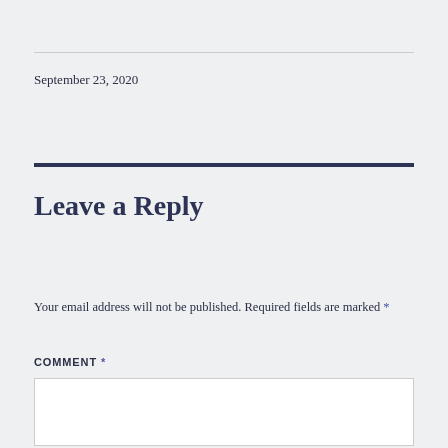September 23, 2020
Leave a Reply
Your email address will not be published. Required fields are marked *
COMMENT *